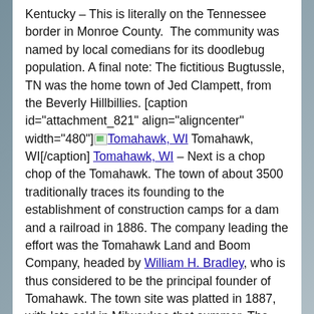Kentucky – This is literally on the Tennessee border in Monroe County.  The community was named by local comedians for its doodlebug population. A final note: The fictitious Bugtussle, TN was the home town of Jed Clampett, from the Beverly Hillbillies. [caption id="attachment_821" align="aligncenter" width="480"] Tomahawk, WI Tomahawk, WI[/caption] Tomahawk, WI – Next is a chop chop of the Tomahawk. The town of about 3500 traditionally traces its founding to the establishment of construction camps for a dam and a railroad in 1886. The company leading the effort was the Tomahawk Land and Boom Company, headed by William H. Bradley, who is thus considered to be the principal founder of Tomahawk. The town site was platted in 1887, with lots sold in Milwaukee that summer. The city was incorporated in 1891. In the 10 years after the first construction camps were built, Tomahawk grew rapidly, boasting many stores, a three-story hotel, many saw mills, a paper mill, and service via three railroads.  Today is a stop on the road, but there a few places to eat, a giant moose statue and an interesting